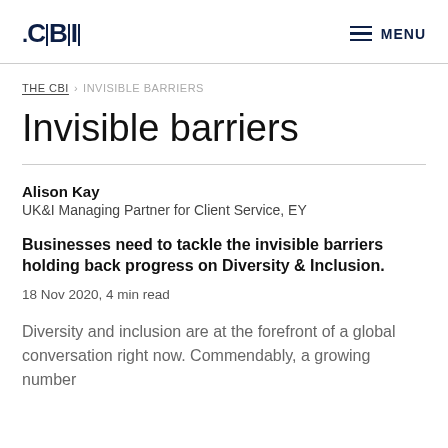CBI | MENU
THE CBI › INVISIBLE BARRIERS
Invisible barriers
Alison Kay
UK&I Managing Partner for Client Service, EY
Businesses need to tackle the invisible barriers holding back progress on Diversity & Inclusion.
18 Nov 2020, 4 min read
Diversity and inclusion are at the forefront of a global conversation right now. Commendably, a growing number